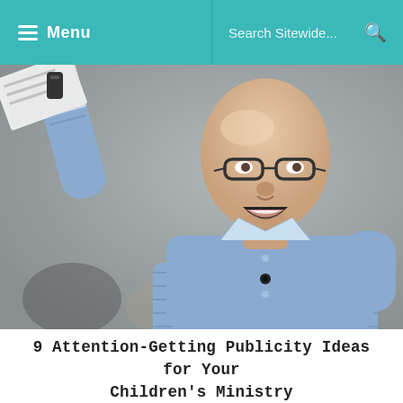Menu   Search Sitewide...
[Figure (photo): A bald man wearing glasses and a blue plaid shirt holds up papers with one arm raised, mouth open as if speaking enthusiastically, with a lapel microphone clipped to his shirt. Other people are partially visible in the blurred background.]
9 Attention-Getting Publicity Ideas for Your Children’s Ministry